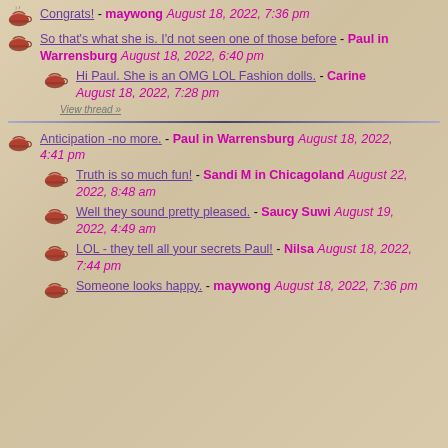Congrats! - maywong August 18, 2022, 7:36 pm
So that's what she is. I'd not seen one of those before - Paul in Warrensburg August 18, 2022, 6:40 pm
Hi Paul. She is an OMG LOL Fashion dolls. - Carine August 18, 2022, 7:28 pm
View thread »
Anticipation -no more. - Paul in Warrensburg August 18, 2022, 4:41 pm
Truth is so much fun! - Sandi M in Chicagoland August 22, 2022, 8:48 am
Well they sound pretty pleased. - Saucy Suwi August 19, 2022, 4:49 am
LOL - they tell all your secrets Paul! - Nilsa August 18, 2022, 7:44 pm
Someone looks happy. - maywong August 18, 2022, 7:36 pm